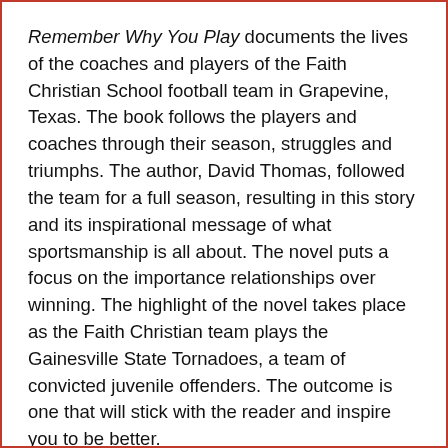Remember Why You Play documents the lives of the coaches and players of the Faith Christian School football team in Grapevine, Texas. The book follows the players and coaches through their season, struggles and triumphs. The author, David Thomas, followed the team for a full season, resulting in this story and its inspirational message of what sportsmanship is all about. The novel puts a focus on the importance relationships over winning. The highlight of the novel takes place as the Faith Christian team plays the Gainesville State Tornadoes, a team of convicted juvenile offenders. The outcome is one that will stick with the reader and inspire you to be better.
Remember Why You Play was pretty much what I expected it to be. It is a novel of faith, football and a team's season with a focus on the one huge game that is a life changing memorable event regardless of outcome. While I don't normally enjoy sports related novels, I did enjoy this one. It reminds me of other football related books & movies such as Remember the Titans, The Blind Side and Friday Night